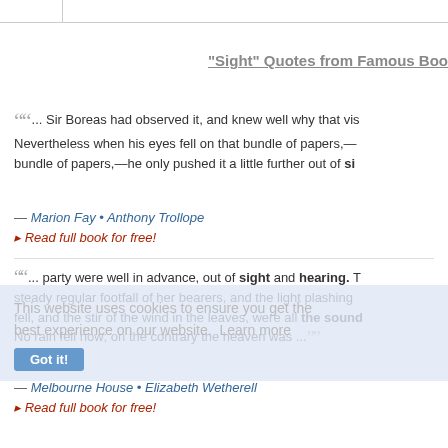"Sight" Quotes from Famous Boo
... Sir Boreas had observed it, and knew well why that vis Nevertheless when his eyes fell on that bundle of papers,— bundle of papers,—he only pushed it a little further out of si
— Marion Fay • Anthony Trollope
▸ Read full book for free!
This website uses cookies to ensure you get the best experience on our website. Learn more
... party were well in advance, out of sight and hearing. T steady regular footfall of her bearers, and the light plashing fell, and the stir of the wind in the leaves, were all the sound No rain fell now; on the contrary the heaven was ...
— Melbourne House • Elizabeth Wetherell
▸ Read full book for free!